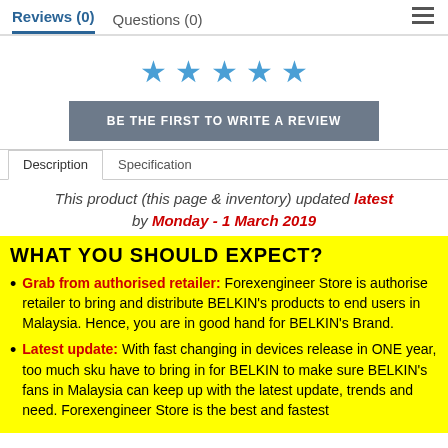Reviews (0)   Questions (0)
[Figure (illustration): Five blue star icons for rating]
BE THE FIRST TO WRITE A REVIEW
Description   Specification
This product (this page & inventory) updated latest by Monday - 1 March 2019
WHAT YOU SHOULD EXPECT?
Grab from authorised retailer: Forexengineer Store is authorise retailer to bring and distribute BELKIN's products to end users in Malaysia. Hence, you are in good hand for BELKIN's Brand.
Latest update: With fast changing in devices release in ONE year, too much sku have to bring in for BELKIN to make sure BELKIN's fans in Malaysia can keep up with the latest update, trends and need. Forexengineer Store is the best and fastest